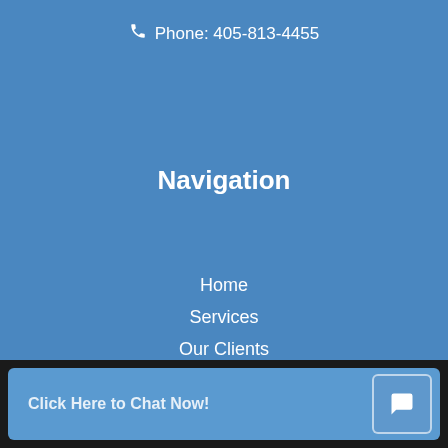Phone: 405-813-4455
Navigation
Home
Services
Our Clients
Blog
Support Center
Contact Us
[Figure (infographic): Four social media icons (Facebook, Twitter, LinkedIn, YouTube) as white icons on black circular backgrounds]
Click Here to Chat Now!